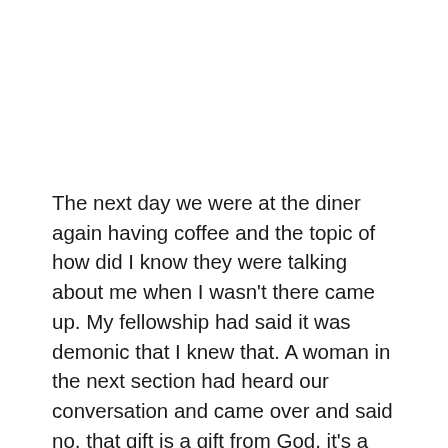The next day we were at the diner again having coffee and the topic of how did I know they were talking about me when I wasn't there came up. My fellowship had said it was demonic that I knew that. A woman in the next section had heard our conversation and came over and said no, that gift is a gift from God, it's a discerning gift and when people speak evil of you the Holy Spirit lets the recipient of the gossip know so they can pray and bind any assignments that were loosed. She then